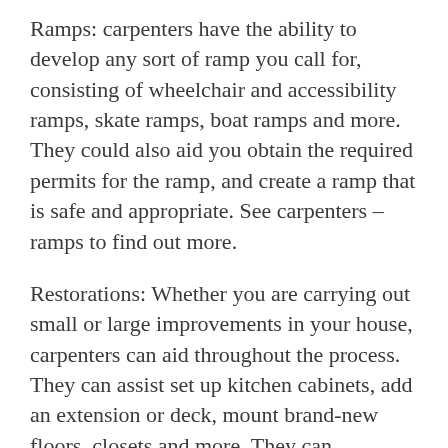Ramps: carpenters have the ability to develop any sort of ramp you call for, consisting of wheelchair and accessibility ramps, skate ramps, boat ramps and more. They could also aid you obtain the required permits for the ramp, and create a ramp that is safe and appropriate. See carpenters – ramps to find out more.
Restorations: Whether you are carrying out small or large improvements in your house, carpenters can aid throughout the process. They can assist set up kitchen cabinets, add an extension or deck, mount brand-new floors, closets and more. They can additionally assist you